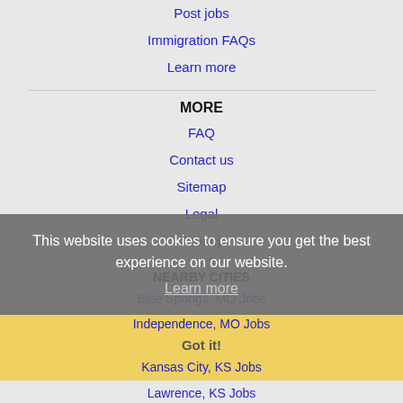Post jobs
Immigration FAQs
Learn more
MORE
FAQ
Contact us
Sitemap
Legal
Privacy
This website uses cookies to ensure you get the best experience on our website.
Learn more
NEARBY CITIES
Blue Springs, MO Jobs
Independence, MO Jobs
Got it!
Kansas City, KS Jobs
Lawrence, KS Jobs
Lee's Summit, MO Jobs